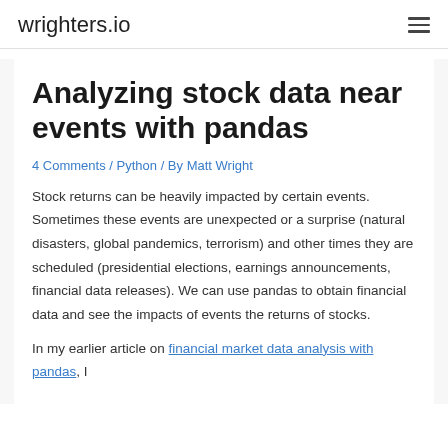wrighters.io
Analyzing stock data near events with pandas
4 Comments / Python / By Matt Wright
Stock returns can be heavily impacted by certain events. Sometimes these events are unexpected or a surprise (natural disasters, global pandemics, terrorism) and other times they are scheduled (presidential elections, earnings announcements, financial data releases). We can use pandas to obtain financial data and see the impacts of events the returns of stocks.
In my earlier article on financial market data analysis with pandas, I